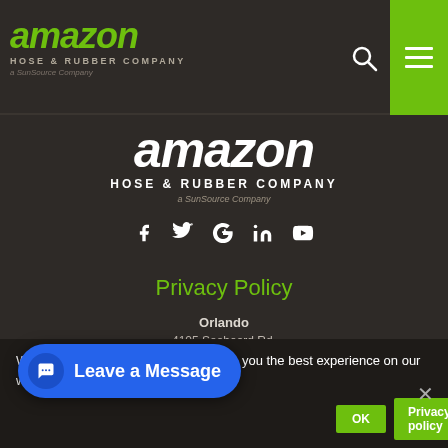[Figure (logo): Amazon Hose & Rubber Company logo (green text) in top-left header, with a SunSource Company subtitle]
[Figure (logo): Amazon Hose & Rubber Company large white centered logo with social media icons (Facebook, Twitter, Google+, LinkedIn, YouTube)]
Privacy Policy
Orlando
4105 Seaboard Rd.
Orlando, FL 32808
We use cookies to ensure that we give you the best experience on our website.
[Figure (other): Leave a Message chat button overlay (blue pill shape)]